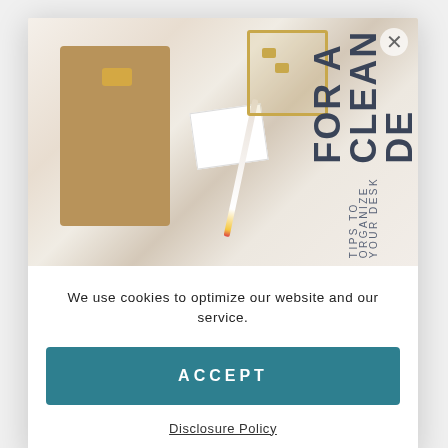[Figure (photo): Desk flatlay photo showing a clipboard, gold organizer with paper clips, a notepad, and a pencil on a white surface. Overlaid vertical text reads 'FOR A CLEAN DESK' and 'TIPS TO ORGANIZE YOUR DESK']
We use cookies to optimize our website and our service.
ACCEPT
Disclosure Policy